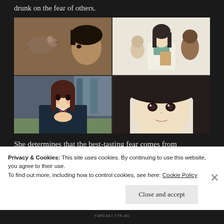drunk on the fear of others.
[Figure (illustration): A 2x2 grid of anime screenshots: top-left shows a rat on a person's head facing a male character; top-right shows a woman in a white coat holding a clipboard with children; bottom-left shows a girl in a school uniform touching her chest; bottom-right shows a close-up of a girl with black hair looking serious.]
She determines that the best-tasting fear comes from
Privacy & Cookies: This site uses cookies. By continuing to use this website, you agree to their use.
To find out more, including how to control cookies, see here: Cookie Policy
Close and accept